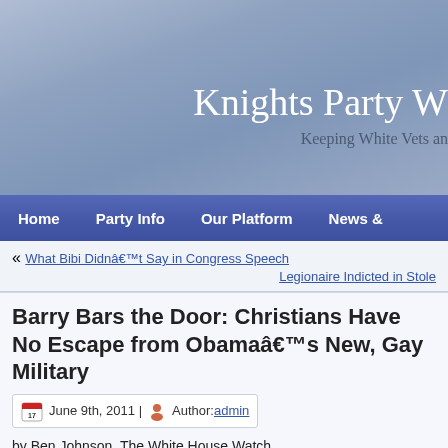Knights Party W
Keeping White Vets an
Home | Party Info | Our Platform | News &
« What Bibi Didnâ€™t Say in Congress Speech
Legionaire Indicted in Stole
Barry Bars the Door: Christians Have No Escape from Obamaâ€™s New, Gay Military
June 9th, 2011 | Author: admin
by Ben Johnson, The White House Watch
http://thewhitehousewatch.com/...